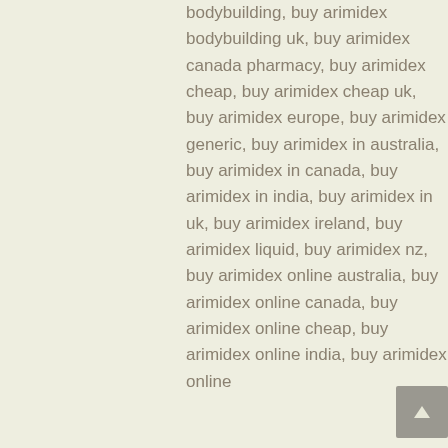bodybuilding, buy arimidex bodybuilding uk, buy arimidex canada pharmacy, buy arimidex cheap, buy arimidex cheap uk, buy arimidex europe, buy arimidex generic, buy arimidex in australia, buy arimidex in canada, buy arimidex in india, buy arimidex in uk, buy arimidex ireland, buy arimidex liquid, buy arimidex nz, buy arimidex online australia, buy arimidex online canada, buy arimidex online cheap, buy arimidex online india, buy arimidex online